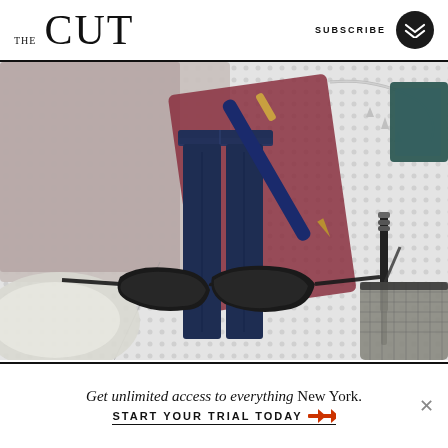THE CUT | SUBSCRIBE
[Figure (photo): Fashion flatlay photo showing navy slim trousers, patterned tweed jacket, navy fountain pen, silver chain necklace, black cat-eye sunglasses, silver metallic shoe, mascara, silver mesh crossbody bag, and green clutch on a white/grey dotted background.]
Get unlimited access to everything New York.
START YOUR TRIAL TODAY →→